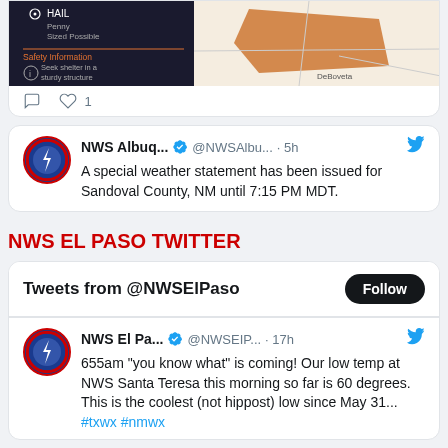[Figure (screenshot): Partial weather warning map showing an orange polygon over a dark background, with safety information panel on the left showing 'HAIL Penny Sized Possible' and 'Safety Information: Seek shelter in a sturdy structure'. Location label 'DeBoveta' visible.]
♡ 1
NWS Albuq... ✓ @NWSAlbu... · 5h
A special weather statement has been issued for Sandoval County, NM until 7:15 PM MDT.
NWS EL PASO TWITTER
Tweets from @NWSElPaso
Follow
NWS El Pa... ✓ @NWSEIP... · 17h
655am "you know what" is coming! Our low temp at NWS Santa Teresa this morning so far is 60 degrees. This is the coolest (not hippost) low since May 31... #txwx #nmwx